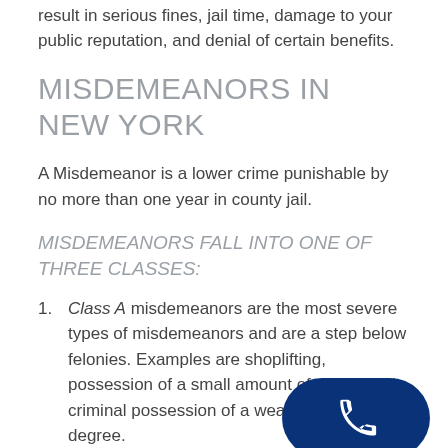result in serious fines, jail time, damage to your public reputation, and denial of certain benefits.
MISDEMEANORS IN NEW YORK
A Misdemeanor is a lower crime punishable by no more than one year in county jail.
MISDEMEANORS FALL INTO ONE OF THREE CLASSES:
Class A misdemeanors are the most severe types of misdemeanors and are a step below felonies. Examples are shoplifting, possession of a small amount of drugs, and criminal possession of a weapon in the fourth degree.
Class B misdemeanors are crimes that not as severe as Class A infractions. Examples are Prostitution in the first degree and issuing a bad check.
3. offense...